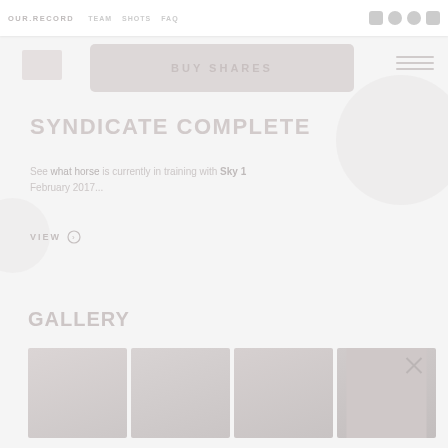OUR.RECORD  TEAM  SHOTS  FAQ  [social icons]
[Figure (screenshot): Buy Shares button area - a large rounded rectangle button with text BUY SHARES in muted rose/taupe tones]
SYNDICATE COMPLETE
See what horse is currently in training with Sky 1 February 2017...
VIEW >
GALLERY
[Figure (photo): Gallery grid showing 4 thumbnail images of horses and related content in muted tones]